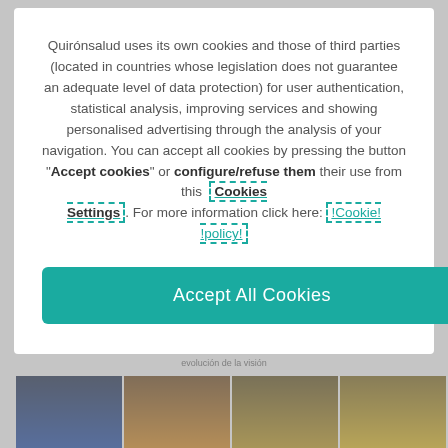Quirónsalud uses its own cookies and those of third parties (located in countries whose legislation does not guarantee an adequate level of data protection) for user authentication, statistical analysis, improving services and showing personalised advertising through the analysis of your navigation. You can accept all cookies by pressing the button "Accept cookies" or configure/refuse them their use from this Cookies Settings. For more information click here: !Cookie! !policy!
Accept All Cookies
there are other factors such as inheritance, diabetes or eye contusions that can cause cataracts.
[Figure (photo): Strip of four photos showing evolución de la visión (vision evolution) from clear blue night scene to increasingly yellow/blurred views]